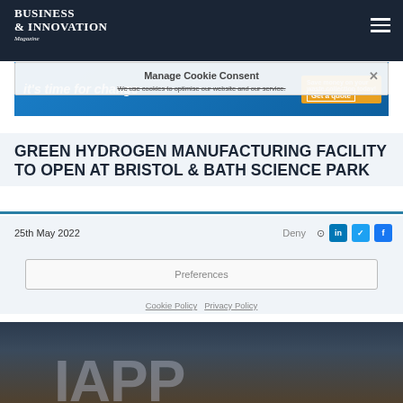BUSINESS & INNOVATION Magazine
[Figure (screenshot): Cookie consent overlay with 'Manage Cookie Consent' title, ad banner reading 'it's time for change', Deny button, Preferences button, Cookie Policy and Privacy Policy links]
GREEN HYDROGEN MANUFACTURING FACILITY TO OPEN AT BRISTOL & BATH SCIENCE PARK
25th May 2022
Deny
Preferences
Cookie Policy   Privacy Policy
[Figure (photo): Partial view of a building exterior with large letters visible, photographed against a blue sky]